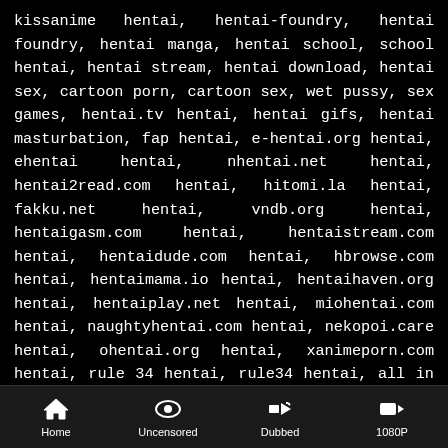kissanime hentai, hentai-foundry, hentai foundry, hentai manga, hentai school, school hentai, hentai stream, hentai download, hentai sex, cartoon porn, cartoon sex, wet pussy, sex games, hentai.tv hentai, hentai gifs, hentai masturbation, fap hentai, e-hentai.org hentai, ehentai hentai, nhentai.net hentai, hentai2read.com hentai, hitomi.la hentai, fakku.net hentai, vndb.org hentai, hentaigasm.com hentai, hentaistream.com hentai, hentaidude.com hentai, hbrowse.com hentai, hentaimama.io hentai, hentaihaven.org hentai, hentaiplay.net hentai, miohentai.com hentai, naughtyhentai.com hentai, nekopoi.care hentai, ohentai.org hentai, xanimeporn.com hentai, rule 34 hentai, rule34 hentai, all in name of free hentai anime porno videos without any issues or annoying
Home | Uncensored | Dubbed | 1080P